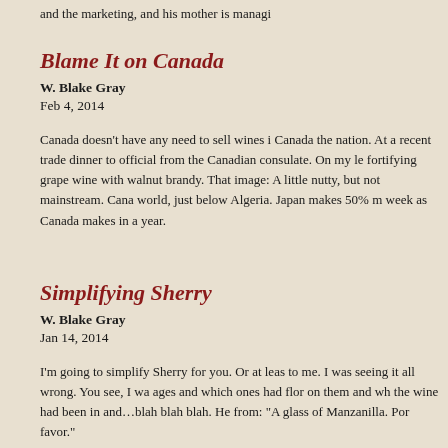and the marketing, and his mother is managi
Blame It on Canada
W. Blake Gray
Feb 4, 2014
Canada doesn't have any need to sell wines i Canada the nation. At a recent trade dinner to official from the Canadian consulate. On my le fortifying grape wine with walnut brandy. That image: A little nutty, but not mainstream. Cana world, just below Algeria. Japan makes 50% m week as Canada makes in a year.
Simplifying Sherry
W. Blake Gray
Jan 14, 2014
I'm going to simplify Sherry for you. Or at leas to me. I was seeing it all wrong. You see, I wa ages and which ones had flor on them and wh the wine had been in and…blah blah blah. He from: "A glass of Manzanilla. Por favor."